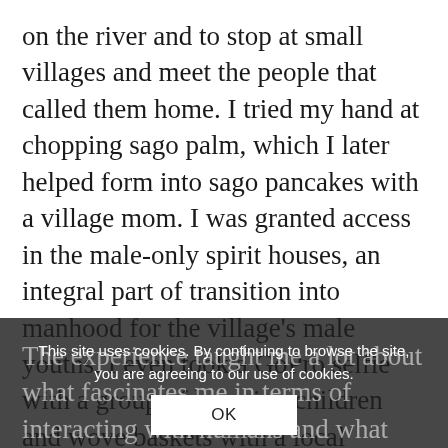on the river and to stop at small villages and meet the people that called them home. I tried my hand at chopping sago palm, which I later helped form into sago pancakes with a village mom. I was granted access in the male-only spirit houses, an integral part of transition into manhood for the village's male youths. I even took a GoPro selfie with a group of beaming children and wove baskets with a local teenager–and all this without sharing a common language!
The experience taught me a lot about what fascinates me in terms of interacting with humans and what we need to not just survive, but to thrive. I boarded my return plane a changed woman.
This site uses cookies. By continuing to browse the site, you are agreeing to our use of cookies.
OK